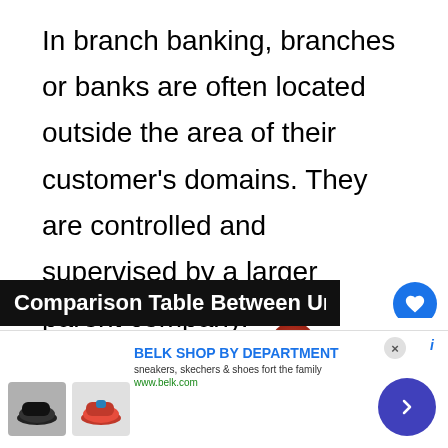In branch banking, branches or banks are often located outside the area of their customer's domains. They are controlled and supervised by a larger parent company.
Comparison Table Between Unit
[Figure (screenshot): Advertisement banner for Belk Shop by Department showing sneakers and shoes]